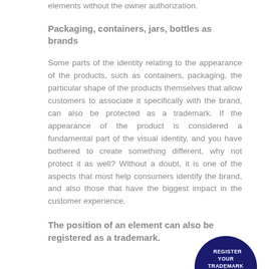elements without the owner authorization.
Packaging, containers, jars, bottles as brands
Some parts of the identity relating to the appearance of the products, such as containers, packaging, the particular shape of the products themselves that allow customers to associate it specifically with the brand, can also be protected as a trademark. If the appearance of the product is considered a fundamental part of the visual identity, and you have bothered to create something different, why not protect it as well? Without a doubt, it is one of the aspects that most help consumers identify the brand, and also those that have the biggest impact in the customer experience.
[Figure (illustration): Dark navy blue semicircle badge with text 'REGISTER YOUR TRADEMARK ONLINE' and a cursor/hand pointer icon]
The position of an element can also be registered as a trademark.